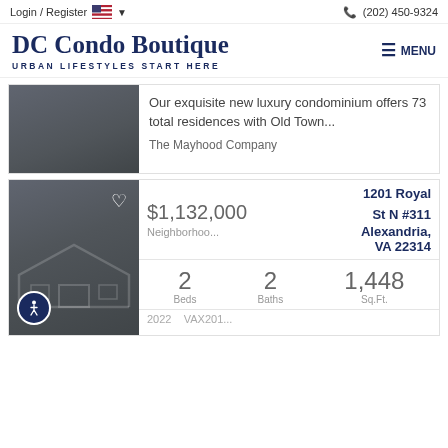Login / Register  (202) 450-9324
DC Condo Boutique
URBAN LIFESTYLES START HERE
Our exquisite new luxury condominium offers 73 total residences with Old Town...
The Mayhood Company
1201 Royal St N #311, Alexandria, VA 22314
$1,132,000
Neighborhoo...
2 Beds  2 Baths  1,448 Sq.Ft.